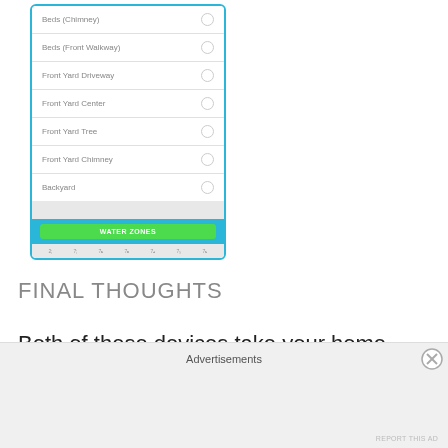[Figure (screenshot): Mobile app screenshot showing irrigation zone list with items: Beds (Chimney), Beds (Front Walkway), Front Yard Driveway, Front Yard Center, Front Yard Tree, Front Yard Chimney, Backyard — each with a radio button. Below the list is a cyan/blue bar with a green WATER ZONES button.]
FINAL THOUGHTS
Both of these devices take your home up a notch. If you're like me you're probably asked...
Advertisements